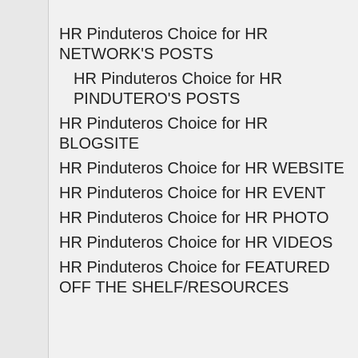HR Pinduteros Choice for HR NETWORK'S POSTS
HR Pinduteros Choice for HR PINDUTERO'S POSTS
HR Pinduteros Choice for HR BLOGSITE
HR Pinduteros Choice for HR WEBSITE
HR Pinduteros Choice for HR EVENT
HR Pinduteros Choice for HR PHOTO
HR Pinduteros Choice for HR VIDEOS
HR Pinduteros Choice for FEATURED OFF THE SHELF/RESOURCES
Privacy & Cookies: This site uses cookies. By continuing to use this website, you agree to their use.
To find out more, including how to control cookies, see here: Cookie Policy